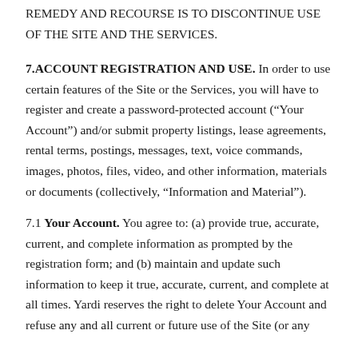REMEDY AND RECOURSE IS TO DISCONTINUE USE OF THE SITE AND THE SERVICES.
7.ACCOUNT REGISTRATION AND USE. In order to use certain features of the Site or the Services, you will have to register and create a password-protected account (“Your Account”) and/or submit property listings, lease agreements, rental terms, postings, messages, text, voice commands, images, photos, files, video, and other information, materials or documents (collectively, “Information and Material”).
7.1 Your Account. You agree to: (a) provide true, accurate, current, and complete information as prompted by the registration form; and (b) maintain and update such information to keep it true, accurate, current, and complete at all times. Yardi reserves the right to delete Your Account and refuse any and all current or future use of the Site (or any